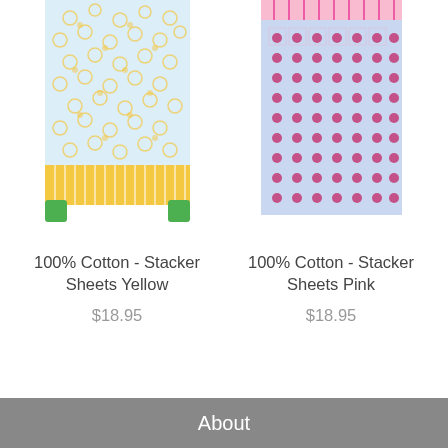[Figure (photo): Product image of 100% Cotton Stacker Sheets Yellow - a rolled/folded sheet with yellow and white pattern with circle designs, yellow striped bottom section, green corner accents]
100% Cotton - Stacker Sheets Yellow
$18.95
[Figure (photo): Product image of 100% Cotton Stacker Sheets Pink - a rolled/folded sheet with pink and light blue grid/dot pattern, pink striped top section]
100% Cotton - Stacker Sheets Pink
$18.95
About